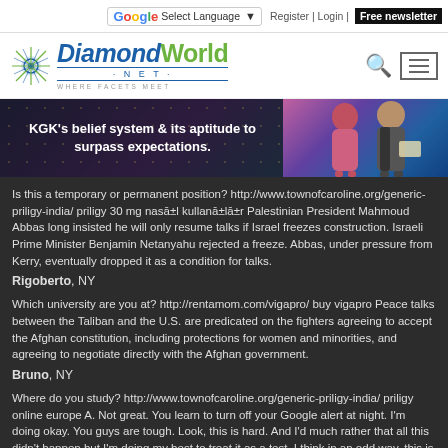Select Language | Register | Login | Free newsletter
[Figure (logo): DiamondWorld.net logo with star icon and tagline WHERE FACETS MEET]
[Figure (photo): KGK banner with text: KGK's belief system & its aptitude to surpass expectations. Shows two people at an award ceremony.]
Is this a temporary or permanent position? http://www.townofcaroline.org/generic-priligy-india/ priligy 30 mg nasāI kullanāIāI±r Palestinian President Mahmoud Abbas long insisted he will only resume talks if Israel freezes construction. Israeli Prime Minister Benjamin Netanyahu rejected a freeze. Abbas, under pressure from Kerry, eventually dropped it as a condition for talks.
Rigoberto, NY
Which university are you at? http://rentamom.com/vigapro/ buy vigapro Peace talks between the Taliban and the U.S. are predicated on the fighters agreeing to accept the Afghan constitution, including protections for women and minorities, and agreeing to negotiate directly with the Afghan government.
Bruno, NY
Where do you study? http://www.townofcaroline.org/generic-priligy-india/ priligy online europe A. Not great. You learn to turn off your Google alert at night. I'm doing okay. You guys are tough. Look, this is hard. And I'd much rather that all this didn't happen but I'm doing my best to treat it as a test. I think in an odd way, this is a great test for the kind of mayor I will be. I will not quit on my stool. Just as I will answer the bell of every round as mayor for the middle class in this city.